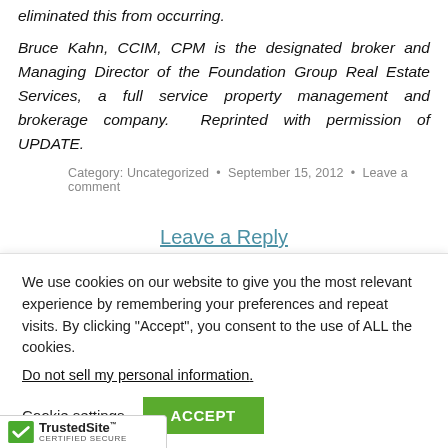eliminated this from occurring.
Bruce Kahn, CCIM, CPM is the designated broker and Managing Director of the Foundation Group Real Estate Services, a full service property management and brokerage company. Reprinted with permission of UPDATE.
Category: Uncategorized • September 15, 2012 • Leave a comment
Leave a Reply
We use cookies on our website to give you the most relevant experience by remembering your preferences and repeat visits. By clicking “Accept”, you consent to the use of ALL the cookies.
Do not sell my personal information.
Cookie settings  ACCEPT